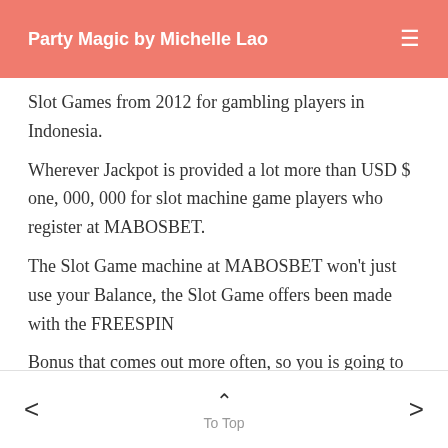Party Magic by Michelle Lao
Slot Games from 2012 for gambling players in Indonesia.
Wherever Jackpot is provided a lot more than USD $ one, 000, 000 for slot machine game players who register at MABOSBET.
The Slot Game machine at MABOSBET won’t just use your Balance, the Slot Game offers been made with the FREESPIN
Bonus that comes out more often, so you is going to be Fortunately.
< To Top >